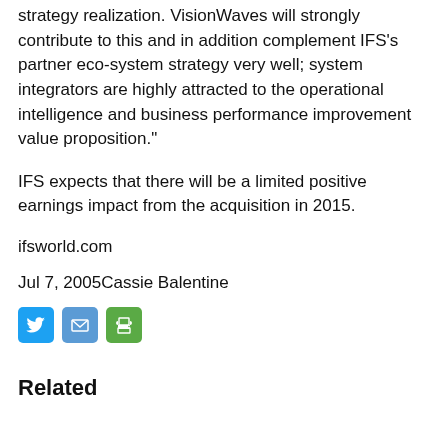strategy realization. VisionWaves will strongly contribute to this and in addition complement IFS's partner eco-system strategy very well; system integrators are highly attracted to the operational intelligence and business performance improvement value proposition."
IFS expects that there will be a limited positive earnings impact from the acquisition in 2015.
ifsworld.com
Jul 7, 2005Cassie Balentine
[Figure (other): Three social sharing icon buttons: Twitter (blue bird icon), Email (blue envelope icon), Print (green printer icon)]
Related